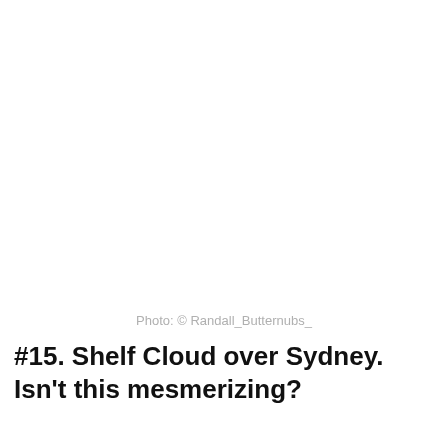[Figure (photo): Blank white area where a photo of a shelf cloud over Sydney would appear]
Photo: © Randall_Butternubs_
#15. Shelf Cloud over Sydney. Isn't this mesmerizing?